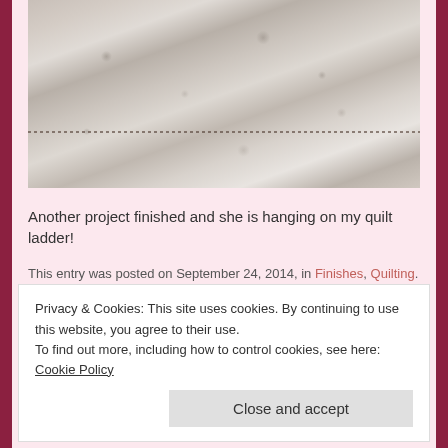[Figure (photo): Close-up photo of a white/cream quilt with floral embroidery and quilting patterns, showing intricate stitching detail]
Another project finished and she is hanging on my quilt ladder!
This entry was posted on September 24, 2014, in Finishes, Quilting.
Leave a comment
[Figure (illustration): Decorative tilde/swirl divider]
Privacy & Cookies: This site uses cookies. By continuing to use this website, you agree to their use.
To find out more, including how to control cookies, see here: Cookie Policy
Close and accept